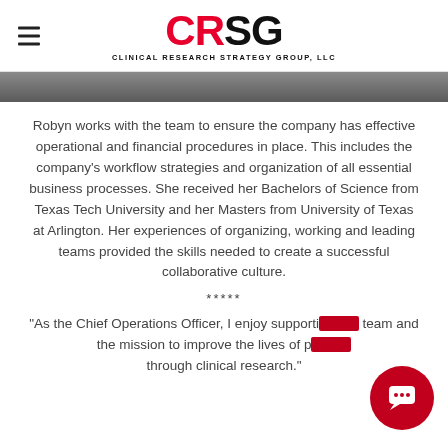CRSG - CLINICAL RESEARCH STRATEGY GROUP, LLC
[Figure (photo): Photo strip of a person, partially visible, gray/dark background]
Robyn works with the team to ensure the company has effective operational and financial procedures in place. This includes the company’s workflow strategies and organization of all essential business processes. She received her Bachelors of Science from Texas Tech University and her Masters from University of Texas at Arlington. Her experiences of organizing, working and leading teams provided the skills needed to create a successful collaborative culture.
*****
“As the Chief Operations Officer, I enjoy supporting this team and the mission to improve the lives of patients through clinical research.”